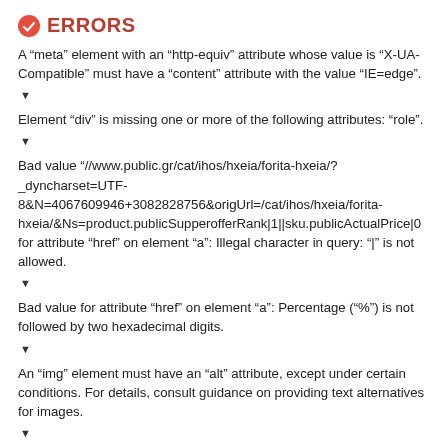ERRORS
A “meta” element with an “http-equiv” attribute whose value is “X-UA-Compatible” must have a “content” attribute with the value “IE=edge”.
Element “div” is missing one or more of the following attributes: “role”.
Bad value “//www.public.gr/cat/ihos/hxeia/forita-hxeia/?_dyncharset=UTF-8&N=4067609946+3082828756&origUrl=/cat/ihos/hxeia/forita-hxeia/&Ns=product.publicSupperofferRank|1||sku.publicActualPrice|0 for attribute “href” on element “a”: Illegal character in query: “|” is not allowed.
Bad value for attribute “href” on element “a”: Percentage (“%”) is not followed by two hexadecimal digits.
An “img” element must have an “alt” attribute, except under certain conditions. For details, consult guidance on providing text alternatives for images.